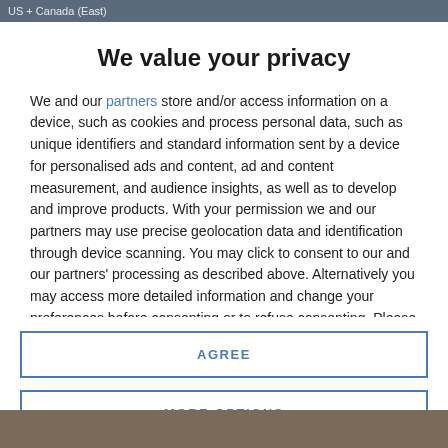US + Canada (East)
We value your privacy
We and our partners store and/or access information on a device, such as cookies and process personal data, such as unique identifiers and standard information sent by a device for personalised ads and content, ad and content measurement, and audience insights, as well as to develop and improve products. With your permission we and our partners may use precise geolocation data and identification through device scanning. You may click to consent to our and our partners' processing as described above. Alternatively you may access more detailed information and change your preferences before consenting or to refuse consenting. Please note that some processing of your personal data may not require your consent, but you have a right to
AGREE
MORE OPTIONS